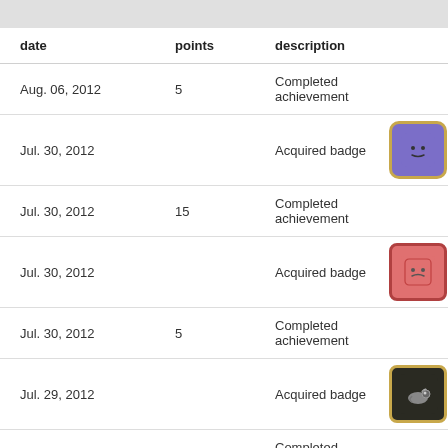| date | points | description |  |
| --- | --- | --- | --- |
| Aug. 06, 2012 | 5 | Completed achievement |  |
| Jul. 30, 2012 |  | Acquired badge | [purple badge] |
| Jul. 30, 2012 | 15 | Completed achievement |  |
| Jul. 30, 2012 |  | Acquired badge | [red badge] |
| Jul. 30, 2012 | 5 | Completed achievement |  |
| Jul. 29, 2012 |  | Acquired badge | [dark snail badge] |
| Jul. 29, 2012 | 15 | Completed achievement |  |
| Jul. 29, 2012 |  | Acquired badge | [dark glasses badge] |
| Jul. 29, 2012 | 5 | Completed achievement |  |
| Jul. 29, 2012 |  | Acquired badge | [dark bird badge] |